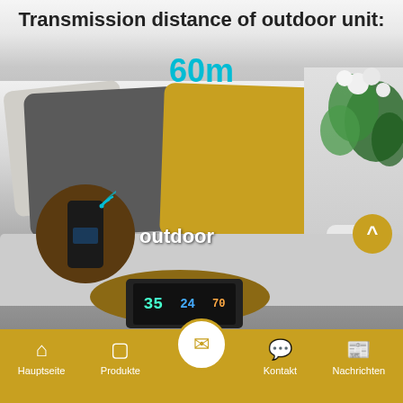Transmission distance of outdoor unit:
60m
[Figure (photo): Living room scene with decorative pillows on a sofa (dark grey, patterned, yellow), a white flower vase with white roses, a weather station display on a round wooden table, and a circular inset showing an outdoor wireless sensor transmitting signal.]
outdoor
Hauptseite
Produkte
Kontakt
Nachrichten